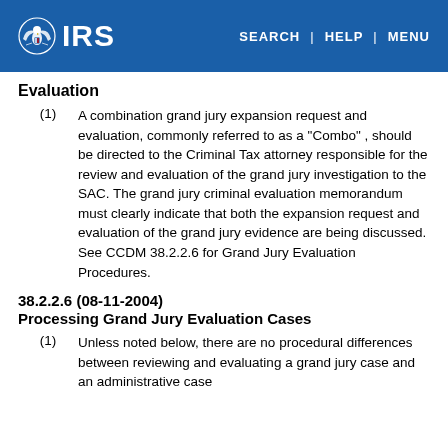IRS | SEARCH | HELP | MENU
Evaluation
(1) A combination grand jury expansion request and evaluation, commonly referred to as a "Combo" , should be directed to the Criminal Tax attorney responsible for the review and evaluation of the grand jury investigation to the SAC. The grand jury criminal evaluation memorandum must clearly indicate that both the expansion request and evaluation of the grand jury evidence are being discussed. See CCDM 38.2.2.6 for Grand Jury Evaluation Procedures.
38.2.2.6 (08-11-2004)
Processing Grand Jury Evaluation Cases
(1) Unless noted below, there are no procedural differences between reviewing and evaluating a grand jury case and an administrative case